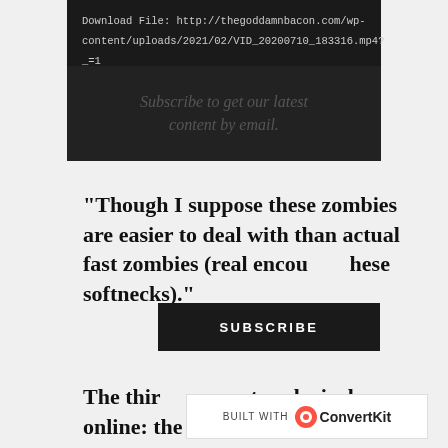[Figure (screenshot): Dark-themed video download box showing a URL for a video file from thegoddamnbacon.com, with a dashed separator and a 'Subscribe to get our latest content by email.' prompt below]
"Though I suppose these zombies are easier to deal with than actual fast zombies (real encou...hese softnecks)."
[Figure (other): SUBSCRIBE button overlay (dark, uppercase)]
The thir...most exclusively online: the "intellectual". This particular breed puts on the facade of actually debating using reason and evidence. In reality, as the simple
[Figure (other): BUILT WITH ConvertKit banner overlay]